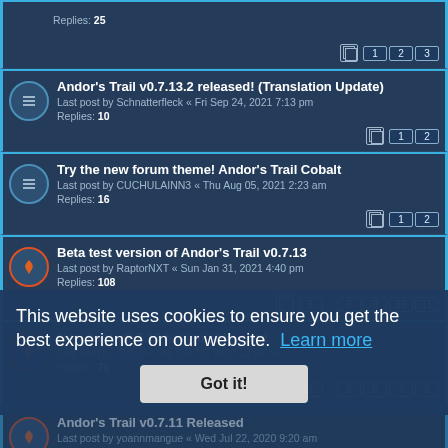Andor's Trail v0.7.13.2 released! (Translation Update) — Last post by Schnatterfleck « Fri Sep 24, 2021 7:13 pm — Replies: 10
Try the new forum theme! Andor's Trail Cobalt — Last post by CUCHULAINN3 « Thu Aug 05, 2021 2:23 am — Replies: 16
Beta test version of Andor's Trail v0.7.13 — Last post by RaptorNXT « Sun Jan 31, 2021 4:40 pm — Replies: 108
New beta v0.7.12 is available now! — Last post by Elytra « Thu Oct 01, 2020 12:03 am — Replies: 76
Andor's Trail v0.7.11 Released — Last post by yoannmangue « Wed Jul 22, 2020 9:20 am — Replies: 58
Beta test version of Andor's Trail v0.7.11 — Replies: 110
Andor's Trail v0.7.9 released — Last post by norrgrd « Thu May 28, 2020 6:00 am — Replies: 58
Andor's Trail v0.7.10 Released
This website uses cookies to ensure you get the best experience on our website. Learn more
Got it!